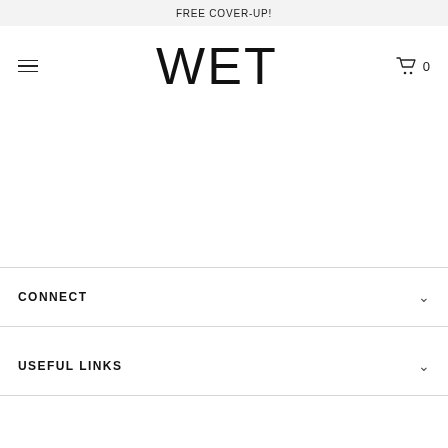FREE COVER-UP!
WET
CONNECT
USEFUL LINKS